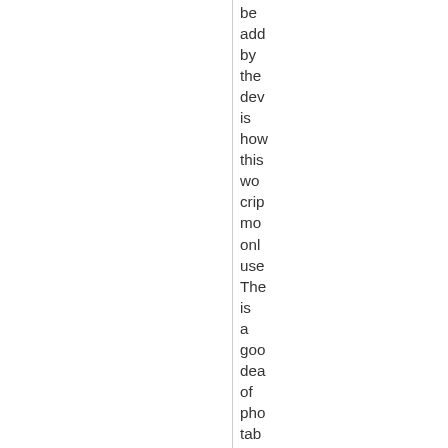be addressed by the device is how this would cripple more online users. There is a good deal of phone, tablet, iPad, smart devices only